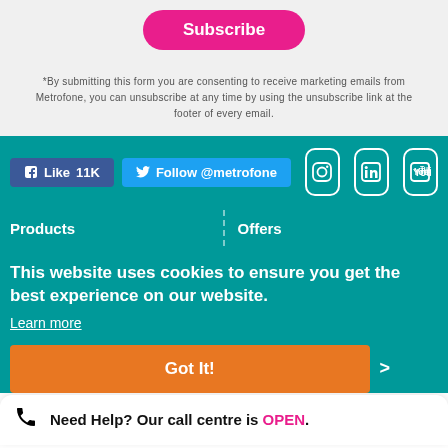Subscribe
*By submitting this form you are consenting to receive marketing emails from Metrofone, you can unsubscribe at any time by using the unsubscribe link at the footer of every email.
[Figure (screenshot): Social media buttons: Facebook Like 11K, Twitter Follow @metrofone, Instagram icon, LinkedIn icon, YouTube icon]
Products
Offers
This website uses cookies to ensure you get the best experience on our website.
Learn more
Got It!
Need Help? Our call centre is OPEN.